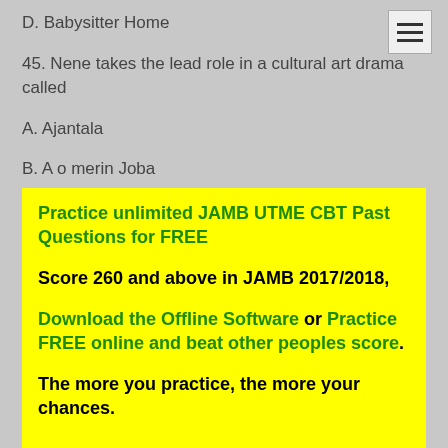D. Babysitter Home
45. Nene takes the lead role in a cultural art drama called
A. Ajantala
B. A o merin Joba
C. Oluronbi
D. Ijapa Oko Yanrinbo
Practice, it's really helpful...
Practice unlimited JAMB UTME CBT Past Questions for FREE
Score 260 and above in JAMB 2017/2018, Download the Offline Software or Practice FREE online and beat other peoples score. The more you practice, the more your chances.